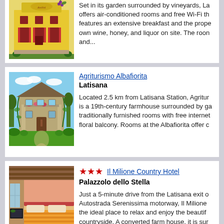[Figure (photo): Yellow building with red shutters, vineyard/winery property]
Set in its garden surrounded by vineyards, La offers air-conditioned rooms and free Wi-Fi th features an extensive breakfast and the prope own wine, honey, and liquor on site. The roon and...
[Figure (photo): 19th-century farmhouse surrounded by gardens, green lawn, covered in vines and flowers]
Agriturismo Albafiorita
Latisana
Located 2.5 km from Latisana Station, Agritur is a 19th-century farmhouse surrounded by ga traditionally furnished rooms with free internet floral balcony. Rooms at the Albafiorita offer c
[Figure (photo): Hotel room interior with wooden ceiling, bed with orange striped bedding, pink walls]
★★★ Il Milione Country Hotel
Palazzolo dello Stella
Just a 5-minute drive from the Latisana exit o Autostrada Serenissima motorway, Il Milione the ideal place to relax and enjoy the beautif countryside. A converted farm house, it is sur gardens and...